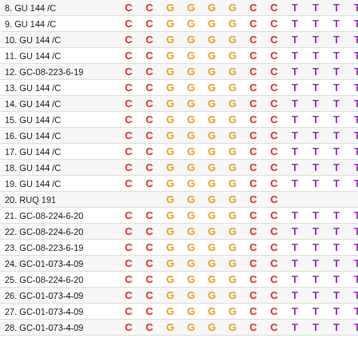| Name | C | C | G | G | G | G | C | C | T | T | T | T | T |
| --- | --- | --- | --- | --- | --- | --- | --- | --- | --- | --- | --- | --- | --- |
| 8. GU 144 /C | C | C | G | G | G | G | C | C | T | T | T | T | T |
| 9. GU 144 /C | C | C | G | G | G | G | C | C | T | T | T | T | T |
| 10. GU 144 /C | C | C | G | G | G | G | C | C | T | T | T | T | T |
| 11. GU 144 /C | C | C | G | G | G | G | C | C | T | T | T | T | T |
| 12. GC-08-223-6-19 | C | C | G | G | G | G | C | C | T | T | T | T | T |
| 13. GU 144 /C | C | C | G | G | G | G | C | C | T | T | T | T | T |
| 14. GU 144 /C | C | C | G | G | G | G | C | C | T | T | T | T | T |
| 15. GU 144 /C | C | C | G | G | G | G | C | C | T | T | T | T | T |
| 16. GU 144 /C | C | C | G | G | G | G | C | C | T | T | T | T | T |
| 17. GU 144 /C | C | C | G | G | G | G | C | C | T | T | T | T | T |
| 18. GU 144 /C | C | C | G | G | G | G | C | C | T | T | T | T | T |
| 19. GU 144 /C | C | C | G | G | G | G | C | C | T | T | T | T | T |
| 20. RUQ 191 |  |  | G | G | G | G | C | C |  |  |  |  | T |
| 21. GC-08-224-6-20 | C | C | G | G | G | G | C | C | T | T | T | T | T |
| 22. GC-08-224-6-20 | C | C | G | G | G | G | C | C | T | T | T | T | T |
| 23. GC-08-223-6-19 | C | C | G | G | G | G | C | C | T | T | T | T | T |
| 24. GC-01-073-4-09 | C | C | G | G | G | G | C | C | T | T | T | T | T |
| 25. GC-08-224-6-20 | C | C | G | G | G | G | C | C | T | T | T | T | T |
| 26. GC-01-073-4-09 | C | C | G | G | G | G | C | C | T | T | T | T | T |
| 27. GC-01-073-4-09 | C | C | G | G | G | G | C | C | T | T | T | T | T |
| 28. GC-01-073-4-09 | C | C | G | G | G | G | C | C | T | T | T | T | T |